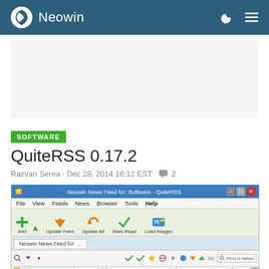Neowin
QuiteRSS 0.17.2
Razvan Serea · Dec 28, 2014 16:12 EST  2
[Figure (screenshot): Screenshot of QuiteRSS 0.17.2 application window showing Neowin News Feed for Software, with menu bar (File, View, Feeds, News, Browser, Tools, Help), toolbar buttons (Add, Update Feed, Update All, Mark Read, Load Images), feed tabs, search bar, and feed list with QuiteRSS and Neowin entries.]